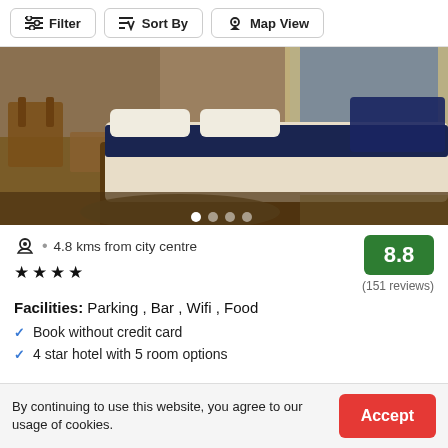Filter  Sort By  Map View
[Figure (photo): Hotel room photo showing a large bed with white linens and a dark navy runner, wooden furniture, and windows in the background. Carousel with 5 dots at bottom.]
4.8 kms from city centre  ★★★★  8.8  (151 reviews)
Facilities: Parking , Bar , Wifi , Food
Book without credit card
4 star hotel with 5 room options
By continuing to use this website, you agree to our usage of cookies.